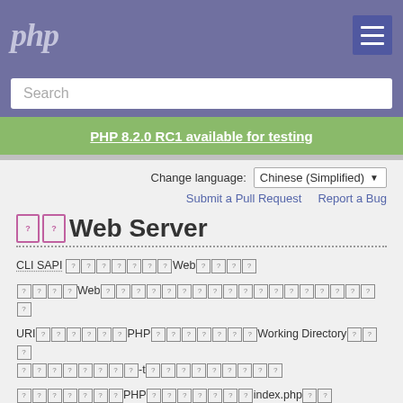php
Search
PHP 8.2.0 RC1 available for testing
Change language: Chinese (Simplified)
Submit a Pull Request   Report a Bug
Web Server
CLI SAPI 不提供任何Web服务器功能。
对于Web开发人员，需要在Web服务器上配置PHP以便运行PHP文件。
URI映射到PHP文件，包括 Working Directory 选项与命令行中的 -t 选项类似。
目前支持的PHP内建 Web 服务器包括 index.php 等。